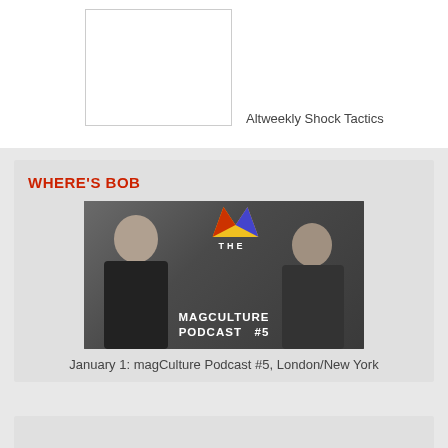[Figure (photo): White rectangular image placeholder with border]
Altweekly Shock Tactics
WHERE'S BOB
[Figure (photo): Photo of two people wearing headphones in a studio with 'THE MAGCULTURE PODCAST #5' text overlay and colorful M logo]
January 1: magCulture Podcast #5, London/New York